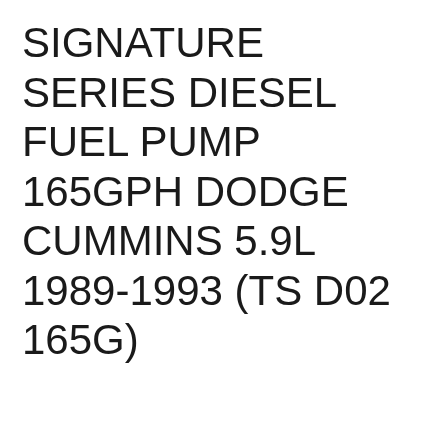SIGNATURE SERIES DIESEL FUEL PUMP 165GPH DODGE CUMMINS 5.9L 1989-1993 (TS D02 165G)